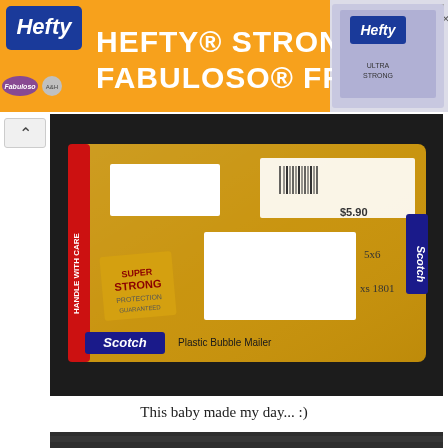[Figure (photo): Hefty brand advertisement banner with orange background, Hefty logo in blue, Fabuloso and Arm & Hammer logos, text HEFTY STRONG, FABULOUSLY FRESH, and product image on right]
[Figure (photo): Photo of a yellow Scotch brand Plastic Bubble Mailer on a dark surface, with a shipping label and postage, SUPER STRONG text, HANDLE WITH CARE red strip, and two white redacted address labels]
This baby made my day... :)
[Figure (photo): Partial photo at bottom of page, dark/black surface barely visible]